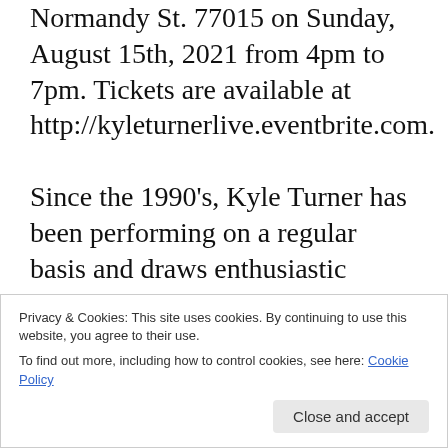Normandy St. 77015 on Sunday, August 15th, 2021 from 4pm to 7pm. Tickets are available at http://kyleturnerlive.eventbrite.com.

Since the 1990's, Kyle Turner has been performing on a regular basis and draws enthusiastic audiences regionally and nationally. Kyle's musical range is vast and he describes himself as a musician that loves playing all types of music. Kyle's musical career has afforded him the opportunity to share the stage with musical greats: Luther Vandross, Regina Belle, Joe Sample
Privacy & Cookies: This site uses cookies. By continuing to use this website, you agree to their use.
To find out more, including how to control cookies, see here: Cookie Policy